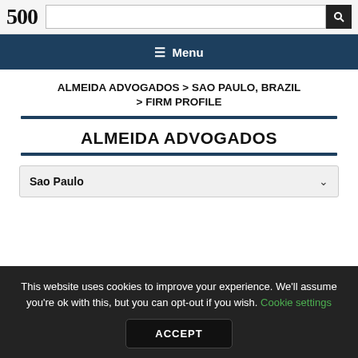500
≡ Menu
ALMEIDA ADVOGADOS > SAO PAULO, BRAZIL > FIRM PROFILE
ALMEIDA ADVOGADOS
Sao Paulo
This website uses cookies to improve your experience. We'll assume you're ok with this, but you can opt-out if you wish. Cookie settings ACCEPT